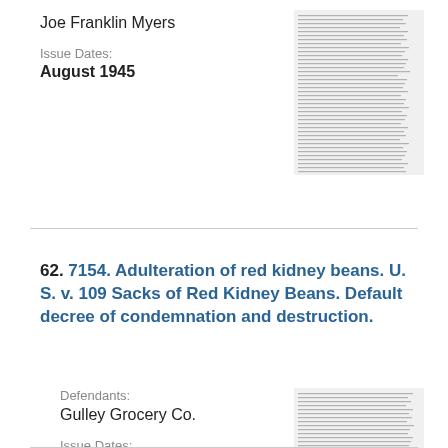Joe Franklin Myers
Issue Dates:
August 1945
[Figure (other): Thumbnail image of a legal document page with dense text]
62. 7154. Adulteration of red kidney beans. U. S. v. 109 Sacks of Red Kidney Beans. Default decree of condemnation and destruction.
Defendants:
Gulley Grocery Co.
Issue Dates:
August 1945
[Figure (other): Thumbnail image of a legal document page with dense text]